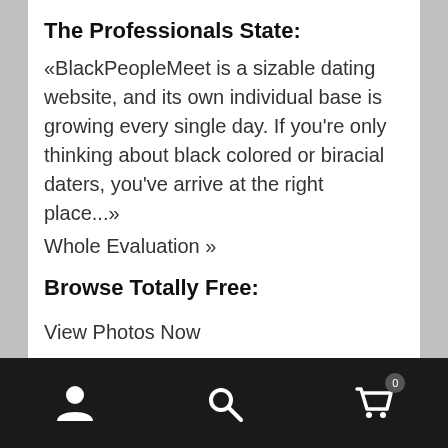The Professionals State:
«BlackPeopleMeet is a sizable dating website, and its own individual base is growing every single day. If you're only thinking about black colored or biracial daters, you've arrive at the right place...»
Whole Evaluation »
Browse Totally Free:
View Photos Now
Within the folks satisfy family members, BPM is actually well-respected and well-liked in online dating neighborhood, as well as their staff exists 24/7 if you have any dilemmas throughout your journey to love.
Navigation bar with user icon, search icon, and cart icon with badge 0